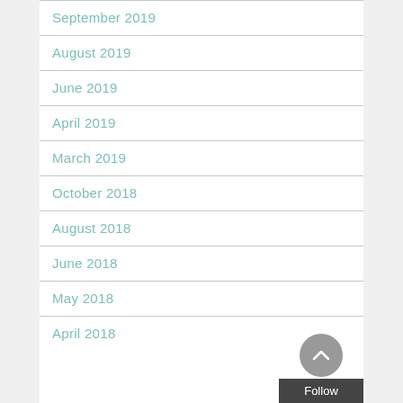September 2019
August 2019
June 2019
April 2019
March 2019
October 2018
August 2018
June 2018
May 2018
April 2018